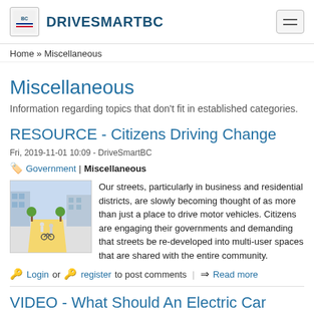DRIVESMARTBC
Home » Miscellaneous
Miscellaneous
Information regarding topics that don't fit in established categories.
RESOURCE - Citizens Driving Change
Fri, 2019-11-01 10:09 - DriveSmartBC
Government | Miscellaneous
[Figure (illustration): Illustration of a street scene with pedestrians and cyclists on a yellow-highlighted multi-use path]
Our streets, particularly in business and residential districts, are slowly becoming thought of as more than just a place to drive motor vehicles. Citizens are engaging their governments and demanding that streets be re-developed into multi-user spaces that are shared with the entire community.
Login or register to post comments | Read more
VIDEO - What Should An Electric Car